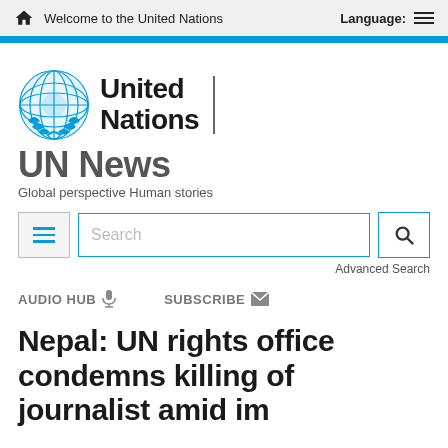Welcome to the United Nations   Language:
[Figure (logo): United Nations emblem (blue globe with laurel wreath) and United Nations text logo]
UN News
Global perspective Human stories
Search   Advanced Search
AUDIO HUB   SUBSCRIBE
Nepal: UN rights office condemns killing of journalist amid impunity